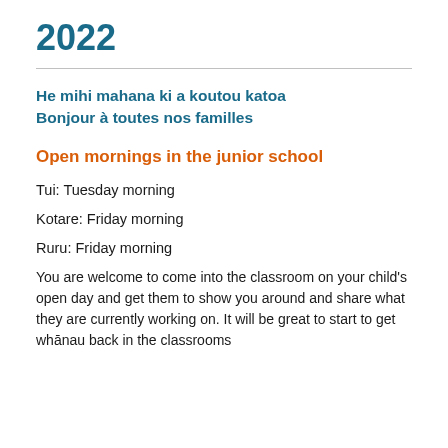2022
He mihi mahana ki a koutou katoa
Bonjour à toutes nos familles
Open mornings in the junior school
Tui: Tuesday morning
Kotare: Friday morning
Ruru: Friday morning
You are welcome to come into the classroom on your child's open day and get them to show you around and share what they are currently working on. It will be great to start to get whānau back in the classrooms